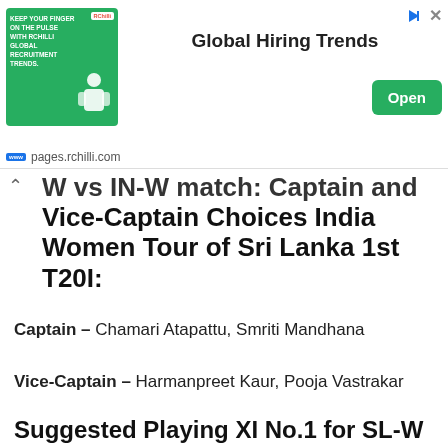[Figure (other): Advertisement banner for RChilli Global Hiring Trends with green image box, 'Global Hiring Trends' text, and Open button. Footer shows pages.rchilli.com URL.]
W vs IN-W match: Captain and Vice-Captain Choices India Women Tour of Sri Lanka 1st T20I:
Captain – Chamari Atapattu, Smriti Mandhana
Vice-Captain – Harmanpreet Kaur, Pooja Vastrakar
Suggested Playing XI No.1 for SL-W vs IN-W Dream11 Team: